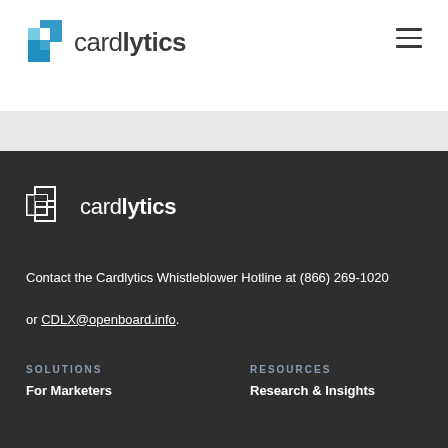[Figure (logo): Cardlytics logo with blue overlapping squares icon and 'cardlytics' text in dark gray]
[Figure (logo): Cardlytics logo (white outline version) with 'cardlytics' text in white on dark background]
Contact the Cardlytics Whistleblower Hotline at (866) 269-1020 or CDLX@openboard.info.
SOLUTIONS
For Marketers
RESOURCES
Research & Insights